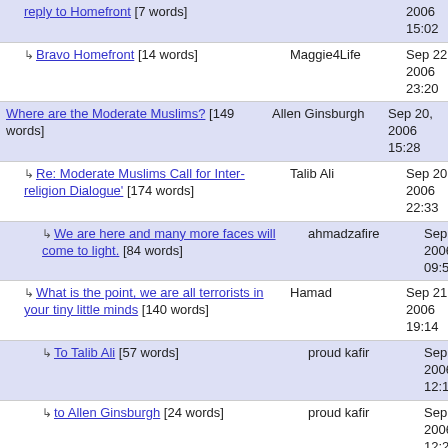reply to Homefront [7 words] | Sep 22, 2006 15:02
Bravo Homefront [14 words] | Maggie4Life | Sep 22, 2006 23:20
Where are the Moderate Muslims? [149 words] | Allen Ginsburgh | Sep 20, 2006 15:28
Re: Moderate Muslims Call for Inter-religion Dialogue' [174 words] | Talib Ali | Sep 20, 2006 22:33
We are here and many more faces will come to light. [84 words] | ahmadzafire | Sep 21, 2006 09:59
What is the point, we are all terrorists in your tiny little minds [140 words] | Hamad | Sep 21, 2006 19:14
To Talib Ali [57 words] | proud kafir | Sep 22, 2006 12:18
to Allen Ginsburgh [24 words] | proud kafir | Sep 22, 2006 12:22